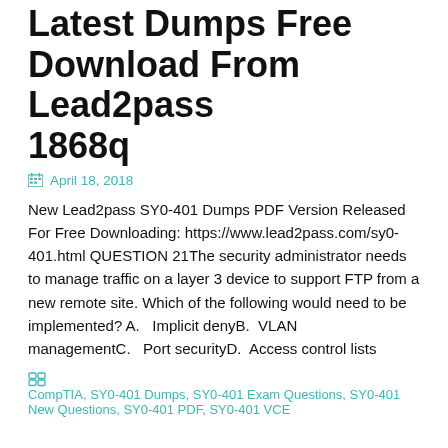Latest Dumps Free Download From Lead2pass 1868q
April 18, 2018
New Lead2pass SY0-401 Dumps PDF Version Released For Free Downloading: https://www.lead2pass.com/sy0-401.html QUESTION 21The security administrator needs to manage traffic on a layer 3 device to support FTP from a new remote site. Which of the following would need to be implemented? A.   Implicit denyB.   VLAN managementC.   Port securityD.   Access control lists
CompTIA, SY0-401 Dumps, SY0-401 Exam Questions, SY0-401 New Questions, SY0-401 PDF, SY0-401 VCE